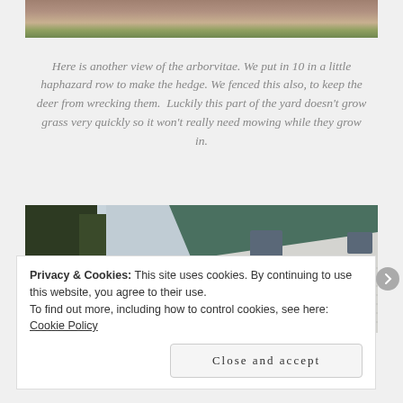[Figure (photo): Top portion of a photo showing arborvitae shrubs and garden area with brown/pink dried plants and green grass]
Here is another view of the arborvitae. We put in 10 in a little haphazard row to make the hedge. We fenced this also, to keep the deer from wrecking them.  Luckily this part of the yard doesn't grow grass very quickly so it won't really need mowing while they grow in.
[Figure (photo): Photo of a white house with green metal roof and bare trees in the foreground, taken in early spring]
Privacy & Cookies: This site uses cookies. By continuing to use this website, you agree to their use.
To find out more, including how to control cookies, see here: Cookie Policy
Close and accept